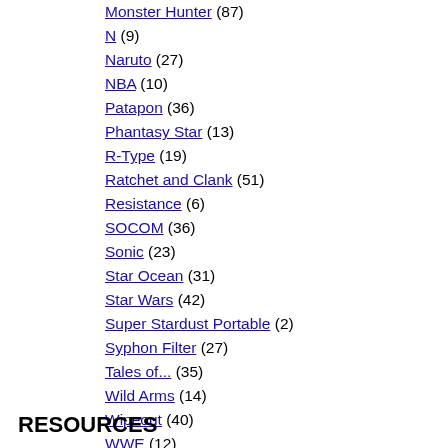Monster Hunter (87)
N (9)
Naruto (27)
NBA (10)
Patapon (36)
Phantasy Star (13)
R-Type (19)
Ratchet and Clank (51)
Resistance (6)
SOCOM (36)
Sonic (23)
Star Ocean (31)
Star Wars (42)
Super Stardust Portable (2)
Syphon Filter (27)
Tales of... (35)
Wild Arms (14)
Wipeout (40)
WWE (12)
Yggdra Union (11)
Yu-Gi-Oh! (5)
Yuusha (9)
RESOURCES